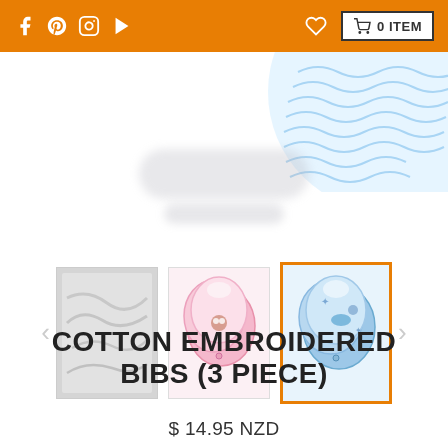f  [pinterest] [instagram] [youtube]   [heart]  0 ITEM
[Figure (photo): Hero product area with blue wavy decoration top right and blurred/faded product silhouette in center]
[Figure (photo): Three product thumbnail images: 1) white/grey fabric close-up, 2) pink bibs with owl embroidery, 3) blue bibs with sea animal embroidery (selected, highlighted with orange border)]
COTTON EMBROIDERED BIBS (3 PIECE)
$ 14.95 NZD